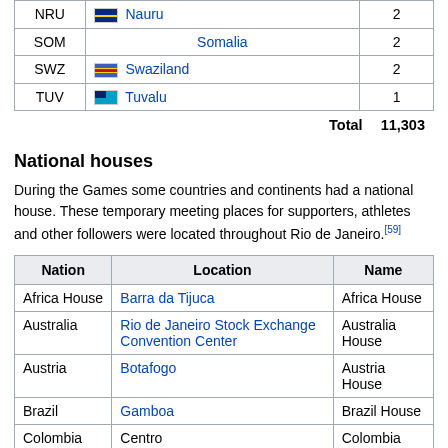| Code | Country | Athletes |
| --- | --- | --- |
| NRU | Nauru | 2 |
| SOM | Somalia | 2 |
| SWZ | Swaziland | 2 |
| TUV | Tuvalu | 1 |
Total  11,303
National houses
During the Games some countries and continents had a national house. These temporary meeting places for supporters, athletes and other followers were located throughout Rio de Janeiro.[59]
| Nation | Location | Name |
| --- | --- | --- |
| Africa House | Barra da Tijuca | Africa House |
| Australia | Rio de Janeiro Stock Exchange Convention Center | Australia House |
| Austria | Botafogo | Austria House |
| Brazil | Gamboa | Brazil House |
| Colombia | Centro | Colombia House |
| Czech Republic | Barra da Tijuca | Czech House |
| Denmark | Ipanema | Danish Pavilion |